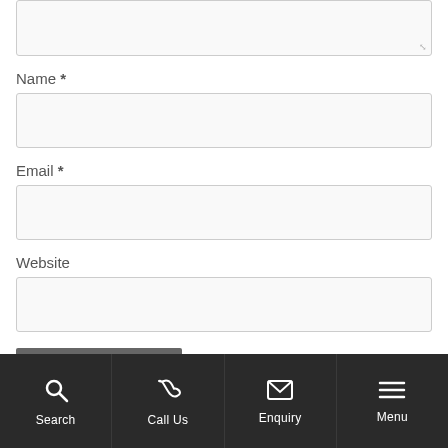[textarea]
Name *
[name input]
Email *
[email input]
Website
[website input]
POST COMMENT
Search | Call Us | Enquiry | Menu